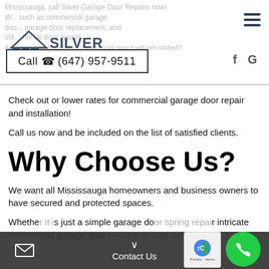Mississauga, call Silver Garage Door Repairs now! ... such as commercial garage doors, ... garage door replacement, and ... roll up door repair! Are you worried that your commercial space will get robbed?
[Figure (logo): Silver Garage Doors logo with building/garage icon and text SILVER GARAGE DOORS]
Call ☎ (647) 957-9511
Check out or lower rates for commercial garage door repair and installation!
Call us now and be included on the list of satisfied clients.
Why Choose Us?
We want all Mississauga homeowners and business owners to have secured and protected spaces.
Whether it is just a simple garage door spring repair or intricate commercial garage door repair that you need, we...
Contact Us